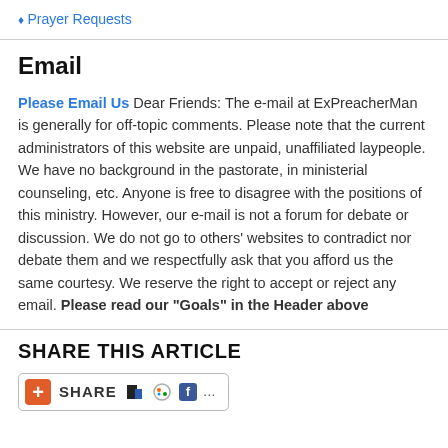♦ Prayer Requests
Email
Please Email Us Dear Friends: The e-mail at ExPreacherMan is generally for off-topic comments. Please note that the current administrators of this website are unpaid, unaffiliated laypeople. We have no background in the pastorate, in ministerial counseling, etc. Anyone is free to disagree with the positions of this ministry. However, our e-mail is not a forum for debate or discussion. We do not go to others' websites to contradict nor debate them and we respectfully ask that you afford us the same courtesy. We reserve the right to accept or reject any email. Please read our "Goals" in the Header above
SHARE THIS ARTICLE
[Figure (other): Share button with plus icon, SHARE text, and social media icons including what appears to be Delicious, StumbleUpon, and Facebook icons with ellipsis]